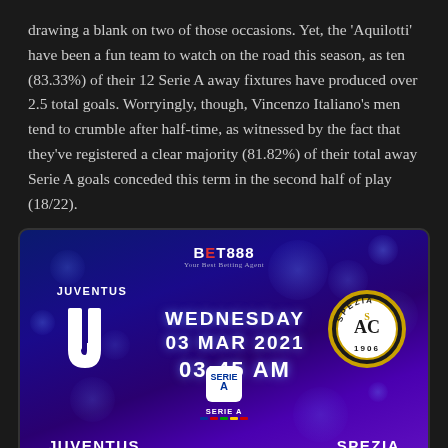drawing a blank on two of those occasions. Yet, the 'Aquilotti' have been a fun team to watch on the road this season, as ten (83.33%) of their 12 Serie A away fixtures have produced over 2.5 total goals. Worryingly, though, Vincenzo Italiano's men tend to crumble after half-time, as witnessed by the fact that they've registered a clear majority (81.82%) of their total away Serie A goals conceded this term in the second half of play (18/22).
[Figure (other): Match preview graphic for Juventus vs Spezia, Wednesday 03 Mar 2021, 03:45 AM. Features Bet888 logo, Juventus logo on left, Spezia badge on right, Serie A logo at bottom center. Blue/purple bokeh background.]